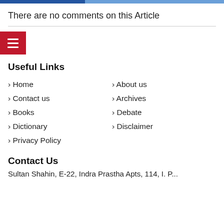There are no comments on this Article
[Figure (other): Red hamburger menu button with three horizontal white lines]
Useful Links
> Home
> About us
> Contact us
> Archives
> Books
> Debate
> Dictionary
> Disclaimer
> Privacy Policy
Contact Us
Sultan Shahin, E-22, Indra Prastha Apts, 114, I. P...